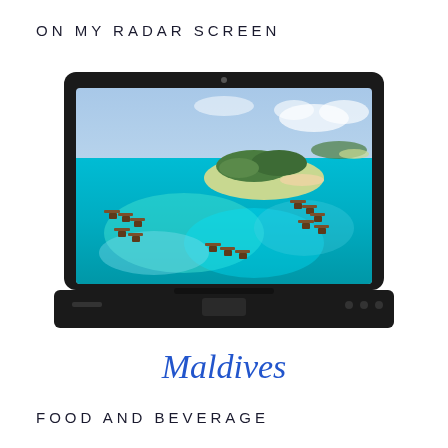ON MY RADAR SCREEN
[Figure (illustration): Laptop computer illustration in black silhouette with aerial photograph of Maldives overwater bungalows and turquoise lagoon displayed on screen]
Maldives
FOOD AND BEVERAGE